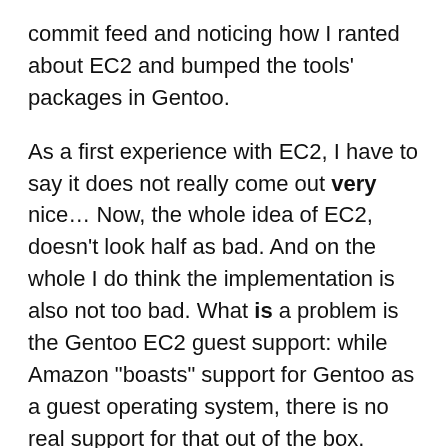commit feed and noticing how I ranted about EC2 and bumped the tools' packages in Gentoo.
As a first experience with EC2, I have to say it does not really come out very nice… Now, the whole idea of EC2, doesn't look half as bad. And on the whole I do think the implementation is also not too bad. What is a problem is the Gentoo EC2 guest support: while Amazon "boasts" support for Gentoo as a guest operating system, there is no real support for that out of the box.
*Incidentally, there is another problem: the AWS Web Console that Amazon make available killed my Firefox 3.6 (ground to a halt). I ended up installing Chromium even though it stinks (it stinks less than Opera, at least).